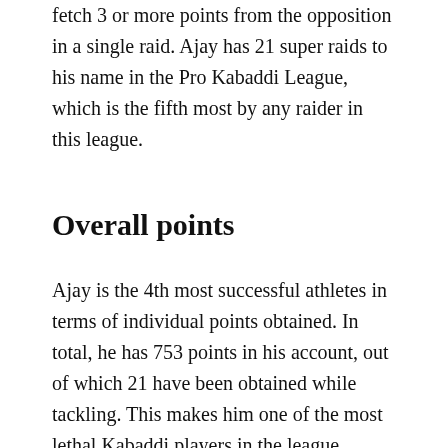fetch 3 or more points from the opposition in a single raid. Ajay has 21 super raids to his name in the Pro Kabaddi League, which is the fifth most by any raider in this league.
Overall points
Ajay is the 4th most successful athletes in terms of individual points obtained. In total, he has 753 points in his account, out of which 21 have been obtained while tackling. This makes him one of the most lethal Kabaddi players in the league.
Most number of successful raids
Ajay Thakur has been one of those players you would always to have in the team. He has the